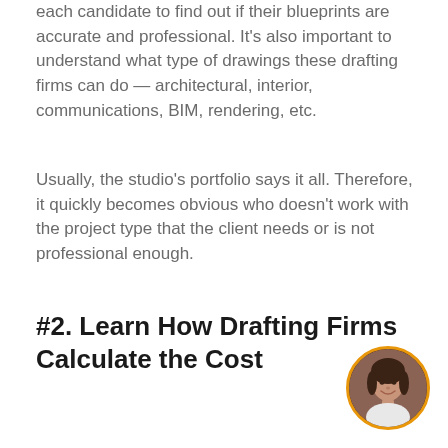each candidate to find out if their blueprints are accurate and professional. It's also important to understand what type of drawings these drafting firms can do — architectural, interior, communications, BIM, rendering, etc.
Usually, the studio's portfolio says it all. Therefore, it quickly becomes obvious who doesn't work with the project type that the client needs or is not professional enough.
#2. Learn How Drafting Firms Calculate the Cost
[Figure (photo): Circular avatar photo of a woman with dark hair, smiling, with an orange circular border.]